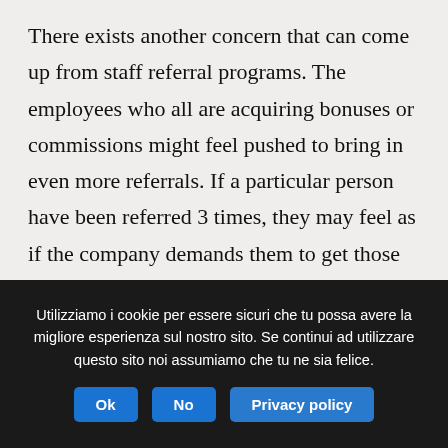There exists another concern that can come up from staff referral programs. The employees who all are acquiring bonuses or commissions might feel pushed to bring in even more referrals. If a particular person have been referred 3 times, they may feel as if the company demands them to get those three referrals in order to stay eligible for the extra or compensation. This may cause a lot of staff members approaching a person who has
Utilizziamo i cookie per essere sicuri che tu possa avere la migliore esperienza sul nostro sito. Se continui ad utilizzare questo sito noi assumiamo che tu ne sia felice.
Ok | No | Privacy policy